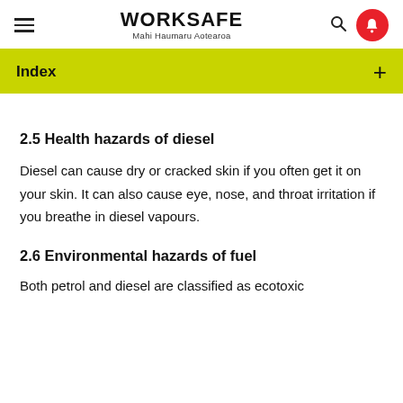WORKSAFE Mahi Haumaru Aotearoa
Index
2.5 Health hazards of diesel
Diesel can cause dry or cracked skin if you often get it on your skin. It can also cause eye, nose, and throat irritation if you breathe in diesel vapours.
2.6 Environmental hazards of fuel
Both petrol and diesel are classified as ecotoxic